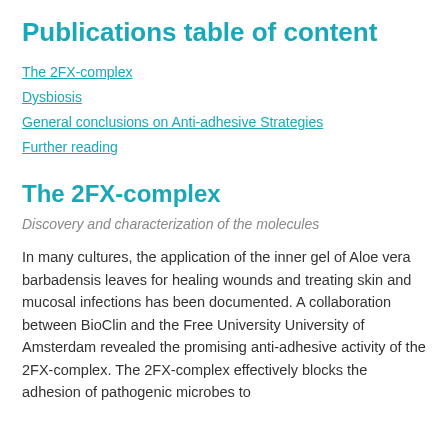Publications table of content
The 2FX-complex
Dysbiosis
General conclusions on Anti-adhesive Strategies
Further reading
The 2FX-complex
Discovery and characterization of the molecules
In many cultures, the application of the inner gel of Aloe vera barbadensis leaves for healing wounds and treating skin and mucosal infections has been documented. A collaboration between BioClin and the Free University University of Amsterdam revealed the promising anti-adhesive activity of the 2FX-complex. The 2FX-complex effectively blocks the adhesion of pathogenic microbes to